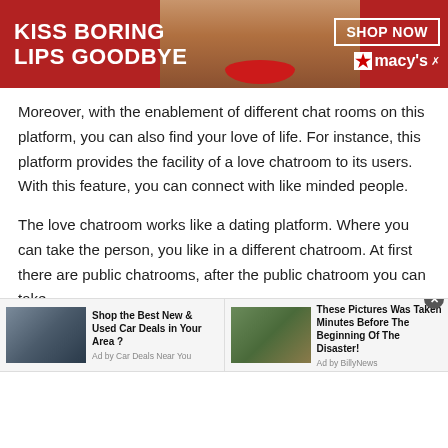[Figure (other): Macy's advertisement banner: 'KISS BORING LIPS GOODBYE' with woman's face and red lips, SHOP NOW button and Macy's logo]
Moreover, with the enablement of different chat rooms on this platform, you can also find your love of life. For instance, this platform provides the facility of a love chatroom to its users. With this feature, you can connect with like minded people.
The love chatroom works like a dating platform. Where you can take the person, you like in a different chatroom. At first there are public chatrooms, after the public chatroom you can take
[Figure (other): Two bottom advertisement widgets: 1) Car image with 'Shop the Best New & Used Car Deals in Your Area?' ad by Car Deals Near You. 2) Disaster scene image with 'These Pictures Was Taken Minutes Before The Beginning Of The Disaster!' ad by BillyNews]